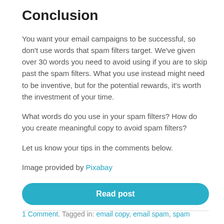Conclusion
You want your email campaigns to be successful, so don't use words that spam filters target. We've given over 30 words you need to avoid using if you are to skip past the spam filters. What you use instead might need to be inventive, but for the potential rewards, it's worth the investment of your time.
What words do you use in your spam filters? How do you create meaningful copy to avoid spam filters?
Let us know your tips in the comments below.
Image provided by Pixabay
Read post
1 Comment. Tagged in: email copy, email spam, spam